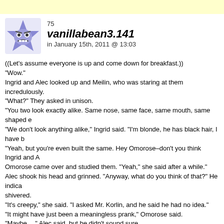[Figure (illustration): Star-shaped avatar icon with a blue/purple color and a grumpy face expression]
75
vanillabean3.141
in January 15th, 2011 @ 13:03
((Let's assume everyone is up and come down for breakfast.))
“Wow.”
Ingrid and Alec looked up and Meilin, who was staring at them incredulously.
“What?” They asked in unison.
“You two look exactly alike. Same nose, same face, same mouth, same shaped e
“We don’t look anything alike,” Ingrid said. “I’m blonde, he has black hair, I have b
“Yeah, but you’re even built the same. Hey Omorose–don’t you think Ingrid and A
Omorose came over and studied them. “Yeah,” she said after a while.”
Alec shook his head and grinned. “Anyway, what do you think of that?” He indica
shivered.
“It’s creepy,” she said. “I asked Mr. Korlin, and he said he had no idea.”
“It might have just been a meaningless prank,” Omorose said.
“Maybe…,” Alec said, but he didn’t sound sure.
“I feel like I’ve heard that name before,” Ingrid said. “I must have read it somewhe

Siriana walked into the dining hall with Kali, who stopped short when she saw the
“What?!” Kalie exclaimed, then turned to Siriana. “Does Adrian know about this?”
Siriana wasn’t even paying attention. The letters seemed to burn as she stared a
how did she know it was a name? It chilled her to the core, more so than anythin
CotD table, whose members seemed rather irritated by the turn of events.
“Do YOU know anything about this?” Eloni demanded when Siriana sat down.
“You should be scared,” Siriana said.
“Why?” James asked.
“I–I don’t know. I just have a bad feeling about this,” Siriana stammered.
“Whoever or whatever this Cassiel is,” Adrian said coolly, “they pose no threat to
That’s what you think, Siriana thought. Out of the corner of her eye, she saw s